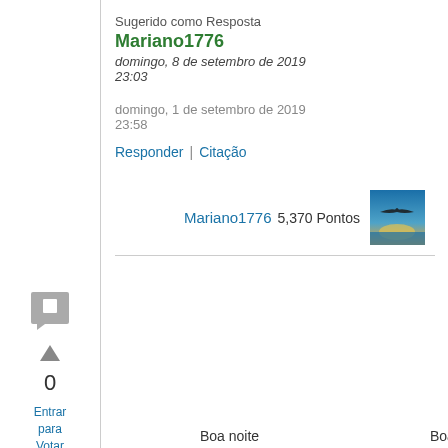Sugerido como Resposta
Mariano1776
domingo, 8 de setembro de 2019 23:03
domingo, 1 de setembro de 2019 23:58
Responder | Citação
Mariano1776  5,370 Pontos
0
Entrar para Votar
Boa noite